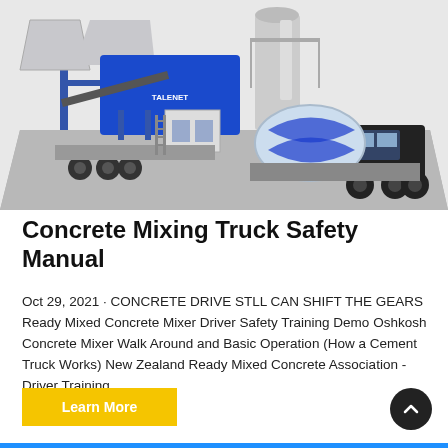[Figure (photo): 3D render of a blue TALENET mobile concrete batching plant with a cement mixer truck on a grey platform surface. The plant has silos, conveyor belts, and a control booth. A blue and white concrete mixer truck is parked on the right side.]
Concrete Mixing Truck Safety Manual
Oct 29, 2021 · CONCRETE DRIVE STLL CAN SHIFT THE GEARS Ready Mixed Concrete Mixer Driver Safety Training Demo Oshkosh Concrete Mixer Walk Around and Basic Operation (How a Cement Truck Works) New Zealand Ready Mixed Concrete Association - Driver Training